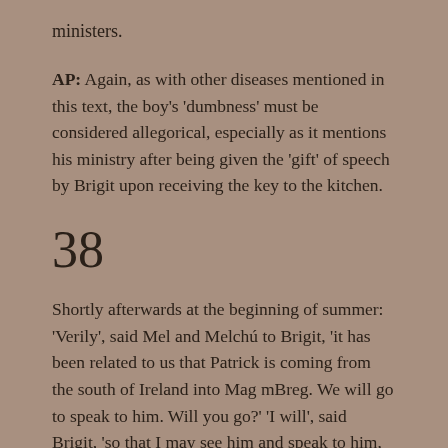ministers.
AP: Again, as with other diseases mentioned in this text, the boy's 'dumbness' must be considered allegorical, especially as it mentions his ministry after being given the 'gift' of speech by Brigit upon receiving the key to the kitchen.
38
Shortly afterwards at the beginning of summer: 'Verily', said Mel and Melchú to Brigit, 'it has been related to us that Patrick is coming from the south of Ireland into Mag mBreg. We will go to speak to him. Will you go?' 'I will', said Brigit, 'so that I may see him and speak to him, and that he may bless me.' As they set out, a certain